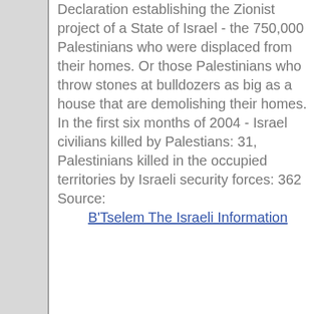Declaration establishing the Zionist project of a State of Israel - the 750,000 Palestinians who were displaced from their homes. Or those Palestinians who throw stones at bulldozers as big as a house that are demolishing their homes.
In the first six months of 2004 - Israel civilians killed by Palestians: 31, Palestinians killed in the occupied territories by Israeli security forces: 362 Source: B'Tselem The Israeli Information